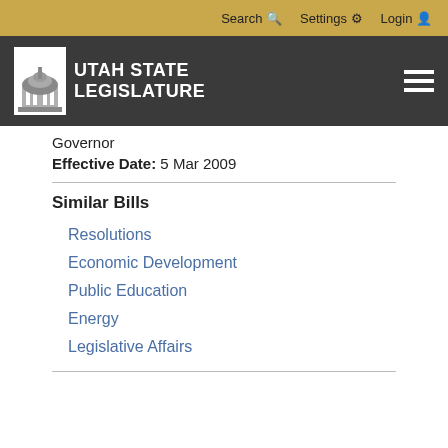Search | Settings | Login
UTAH STATE LEGISLATURE
Governor
Effective Date: 5 Mar 2009
Similar Bills
Resolutions
Economic Development
Public Education
Energy
Legislative Affairs